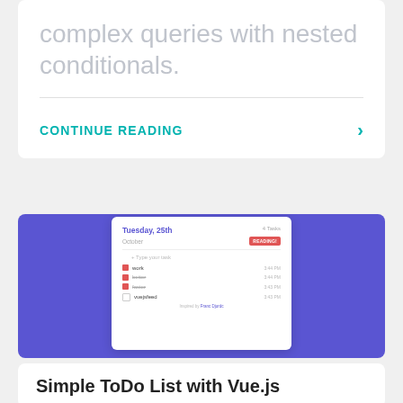A UI component for building complex queries with nested conditionals.
CONTINUE READING
[Figure (screenshot): A todo list app mockup on a blue/purple background. Shows Tuesday, 25th / October with tasks: work, better (strikethrough), faster (strikethrough), vuejsfeed. Red checkboxes for completed items. Footer: Inspired by Franc Djordc.]
Simple ToDo List with Vue.js